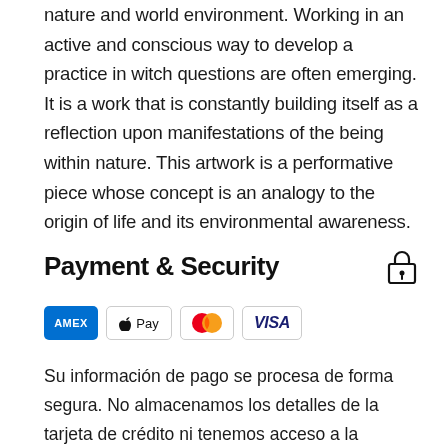nature and world environment. Working in an active and conscious way to develop a practice in witch questions are often emerging. It is a work that is constantly building itself as a reflection upon manifestations of the being within nature. This artwork is a performative piece whose concept is an analogy to the origin of life and its environmental awareness.
Payment & Security
[Figure (infographic): Payment method icons: American Express (AMEX), Apple Pay, Mastercard, Visa]
Su información de pago se procesa de forma segura. No almacenamos los detalles de la tarjeta de crédito ni tenemos acceso a la información de su tarjeta de crédito.